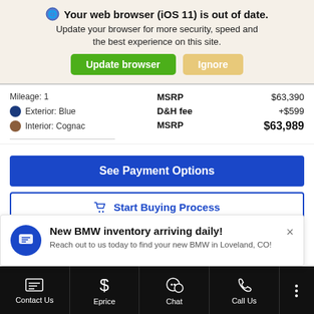Your web browser (iOS 11) is out of date. Update your browser for more security, speed and the best experience on this site.
Update browser | Ignore
Mileage: 1
Exterior: Blue
Interior: Cognac
|  | Label | Value |
| --- | --- | --- |
|  | MSRP | $63,390 |
|  | D&H fee | +$599 |
|  | MSRP | $63,989 |
See Payment Options
Start Buying Process
New BMW inventory arriving daily!
Reach out to us today to find your new BMW in Loveland, CO!
Contact Us | Eprice | Chat | Call Us | (more)